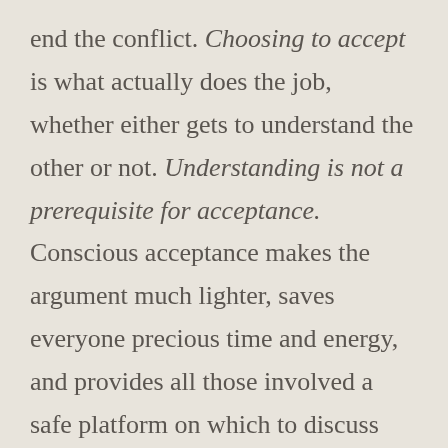end the conflict. Choosing to accept is what actually does the job, whether either gets to understand the other or not. Understanding is not a prerequisite for acceptance. Conscious acceptance makes the argument much lighter, saves everyone precious time and energy, and provides all those involved a safe platform on which to discuss their differences openly. It gets us more friends and pleasant experiences.